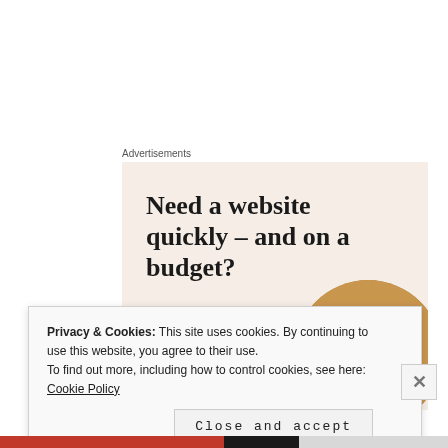Advertisements
[Figure (illustration): Advertisement banner with beige background reading 'Need a website quickly – and on a budget? Let us build it for you' with a 'Let's get started' button and a circular photo of a person working]
Privacy & Cookies: This site uses cookies. By continuing to use this website, you agree to their use.
To find out more, including how to control cookies, see here: Cookie Policy
Close and accept